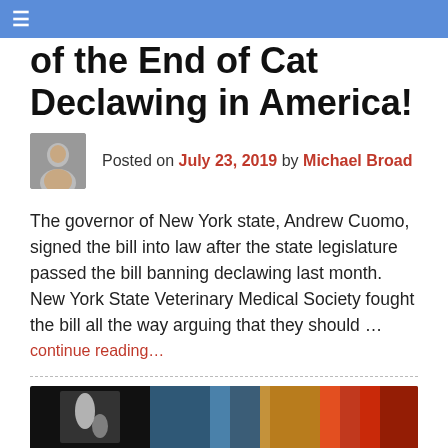☰
of the End of Cat Declawing in America!
Posted on July 23, 2019 by Michael Broad
The governor of New York state, Andrew Cuomo, signed the bill into law after the state legislature passed the bill banning declawing last month. New York State Veterinary Medical Society fought the bill all the way arguing that they should …
continue reading…
Posted in Declawing | Tagged animal law, Cat News, declawing ban, good cat news, new york state
[Figure (photo): Partial photo strip at bottom of page showing colorful image]